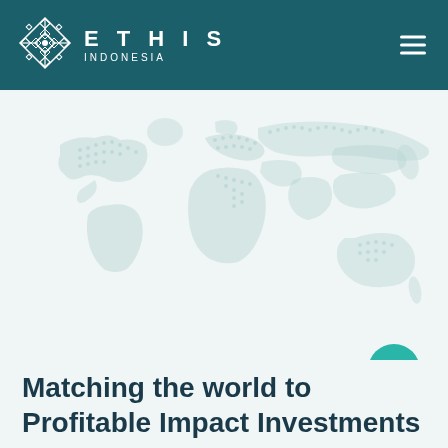[Figure (logo): Ethis Indonesia logo with geometric snowflake icon and text ETHIS INDONESIA on dark teal header background]
[Figure (map): Light teal dotted world map on light gray-blue background]
Matching the world to Profitable Impact Investments